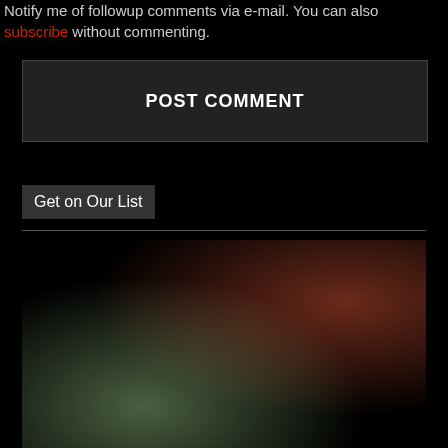Notify me of followup comments via e-mail. You can also subscribe without commenting.
POST COMMENT
Get on Our List
[Figure (other): Blurred dark gradient background image with green tones on the left and dark red/brown tones on the upper right.]